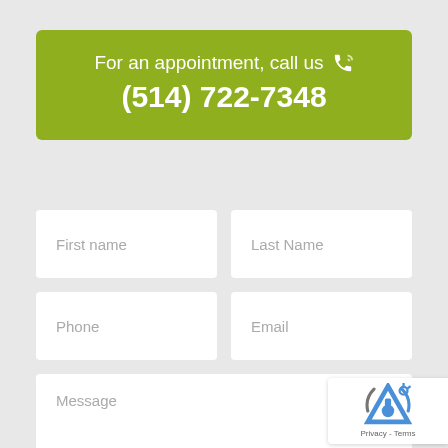For an appointment, call us (514) 722-7348
First name
Last Name
Phone
Email
Message
[Figure (logo): reCAPTCHA logo with Privacy - Terms text]